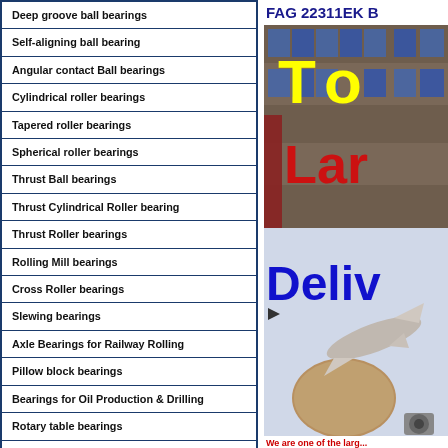Deep groove ball bearings
Self-aligning ball bearing
Angular contact Ball bearings
Cylindrical roller bearings
Tapered roller bearings
Spherical roller bearings
Thrust Ball bearings
Thrust Cylindrical Roller bearing
Thrust Roller bearings
Rolling Mill bearings
Cross Roller bearings
Slewing bearings
Axle Bearings for Railway Rolling
Pillow block bearings
Bearings for Oil Production & Drilling
Rotary table bearings
Joint bearings
Other special bearings
Needle Roller bearings
FAG 22311EK B
[Figure (photo): Warehouse shelves stocked with bearing boxes, with overlaid yellow 'To' and red 'Lar' text]
[Figure (photo): Airplane and globe delivery image with blue 'Deliv' text overlay]
We are one of the largest...